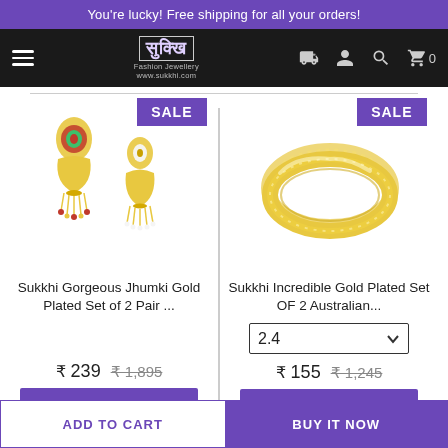You're lucky! Free shipping for all your orders!
[Figure (screenshot): Sukkhi fashion jewellery website navigation bar with hamburger menu, logo, delivery truck icon, user icon, search icon, and cart icon showing 0 items]
[Figure (photo): Sukkhi Gorgeous Jhumki Gold Plated Set of 2 Pair earrings product image with SALE badge]
Sukkhi Gorgeous Jhumki Gold Plated Set of 2 Pair ...
₹ 239  ₹ 1,895
[Figure (photo): Sukkhi Incredible Gold Plated Set OF 2 Australian bangles product image with SALE badge]
Sukkhi Incredible Gold Plated Set OF 2 Australian...
₹ 155  ₹ 1,245
ADD TO CART    BUY IT NOW